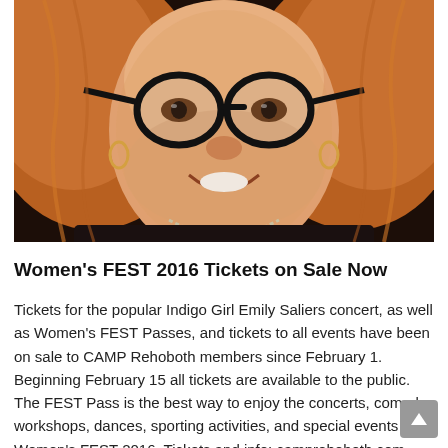[Figure (photo): Close-up portrait of a smiling woman with reddish-blonde wavy hair, large round black-framed glasses, hoop earrings, and a beaded necklace, wearing dark clothing]
Women's FEST 2016 Tickets on Sale Now
Tickets for the popular Indigo Girl Emily Saliers concert, as well as Women's FEST Passes, and tickets to all events have been on sale to CAMP Rehoboth members since February 1. Beginning February 15 all tickets are available to the public. The FEST Pass is the best way to enjoy the concerts, comedy, workshops, dances, sporting activities, and special events of Women's FEST 2016. Tickets and info: camprehoboth.com.